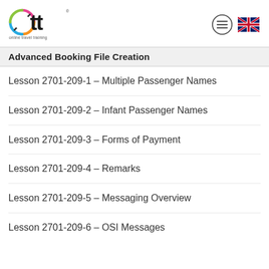ott online travel training — header with hamburger menu and UK flag
Advanced Booking File Creation
Lesson 2701-209-1 – Multiple Passenger Names
Lesson 2701-209-2 – Infant Passenger Names
Lesson 2701-209-3 – Forms of Payment
Lesson 2701-209-4 – Remarks
Lesson 2701-209-5 – Messaging Overview
Lesson 2701-209-6 – OSI Messages